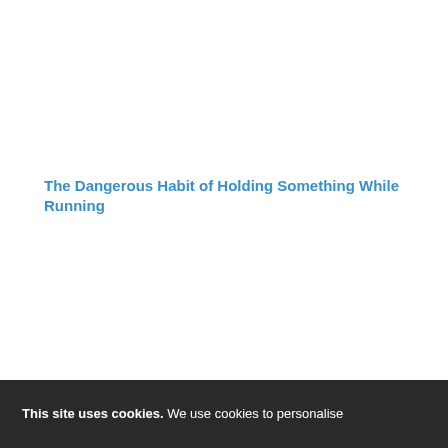The Dangerous Habit of Holding Something While Running
If Running Feels Too Hard, Try This
This site uses cookies. We use cookies to personalise